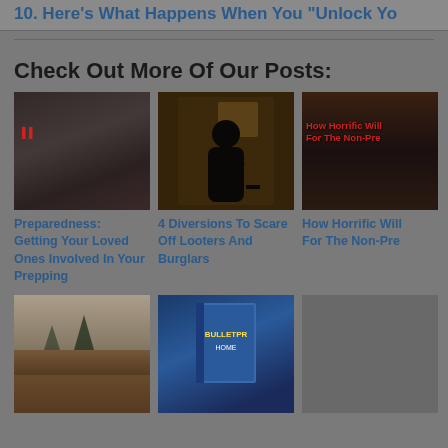10. Here's What Happens When You "Unlock Yo...
Check Out More Of Our Posts:
[Figure (photo): Dark photo of people loading or unloading items from a vehicle]
Preparedness: Getting Your Loved Ones Involved In Your Prepping
[Figure (photo): Silhouette of a hooded person holding a crowbar at a doorway at night]
4 Diversions To Scare Off Looters And Burglars
[Figure (photo): Dark red-tinted image with text overlay reading How Horrific Will... For The Non-Pre...]
How Horrific Will... For The Non-Pre...
[Figure (photo): Landscape photo with trees and sky]
[Figure (photo): Book cover image with text BULLETPR... HOME...]
[Figure (photo): Gray/dark image partially visible]